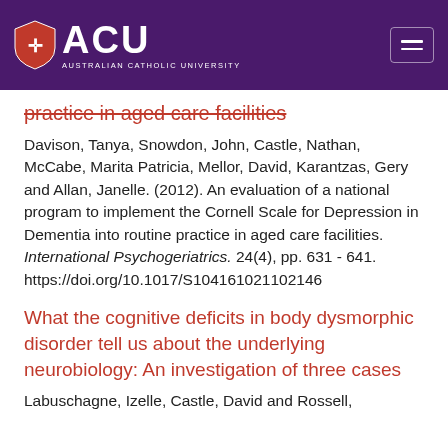[Figure (logo): ACU Australian Catholic University logo with shield icon on purple background with hamburger menu icon]
practice in aged care facilities
Davison, Tanya, Snowdon, John, Castle, Nathan, McCabe, Marita Patricia, Mellor, David, Karantzas, Gery and Allan, Janelle. (2012). An evaluation of a national program to implement the Cornell Scale for Depression in Dementia into routine practice in aged care facilities. International Psychogeriatrics. 24(4), pp. 631 - 641. https://doi.org/10.1017/S104161021102146
What the cognitive deficits in body dysmorphic disorder tell us about the underlying neurobiology: An investigation of three cases
Labuschagne, Izelle, Castle, David and Rossell,